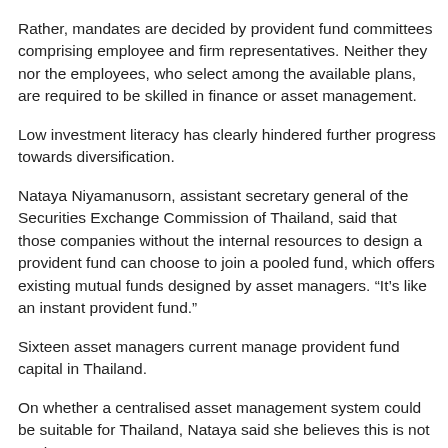Rather, mandates are decided by provident fund committees comprising employee and firm representatives. Neither they nor the employees, who select among the available plans, are required to be skilled in finance or asset management.
Low investment literacy has clearly hindered further progress towards diversification.
Nataya Niyamanusorn, assistant secretary general of the Securities Exchange Commission of Thailand, said that those companies without the internal resources to design a provident fund can choose to join a pooled fund, which offers existing mutual funds designed by asset managers. “It’s like an instant provident fund.”
Sixteen asset managers current manage provident fund capital in Thailand.
On whether a centralised asset management system could be suitable for Thailand, Nataya said she believes this is not on the